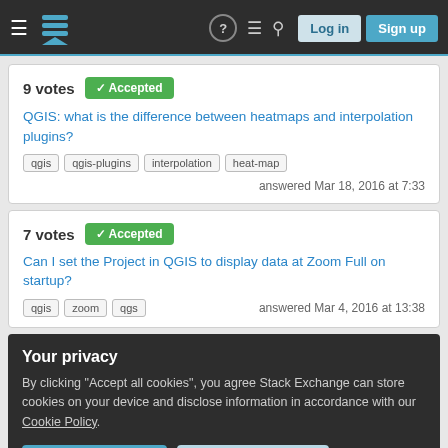Stack Exchange navigation bar with logo, help, chat, search, Log in, Sign up buttons
9 votes  Accepted
QGIS: what is the difference between heatmaps and interpolation plugins?
Tags: qgis, qgis-plugins, interpolation, heat-map
answered Mar 18, 2016 at 7:33
7 votes  Accepted
Can I set the Project in QGIS to display data at Zoom Full on startup?
Tags: qgis, zoom, qgs
answered Mar 4, 2016 at 13:38
Your privacy
By clicking "Accept all cookies", you agree Stack Exchange can store cookies on your device and disclose information in accordance with our Cookie Policy.
Accept all cookies    Customize settings
5 votes